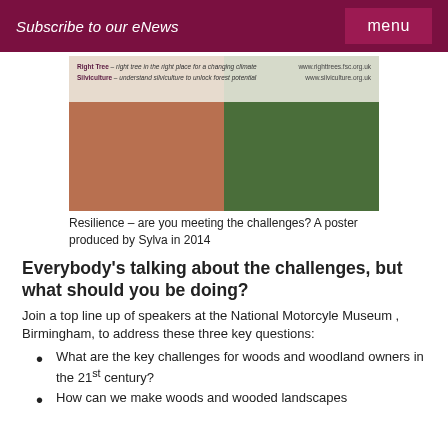Subscribe to our eNews   menu
[Figure (photo): A poster image showing a split photograph of woodland – left half shows brown/rust coloured trees, right half shows green trees. An overlay at the top shows text about 'Right Trees' and 'Silviculture' with website URLs.]
Resilience – are you meeting the challenges? A poster produced by Sylva in 2014
Everybody's talking about the challenges, but what should you be doing?
Join a top line up of speakers at the National Motorcyle Museum , Birmingham, to address these three key questions:
What are the key challenges for woods and woodland owners in the 21st century?
How can we make woods and wooded landscapes more resilient?